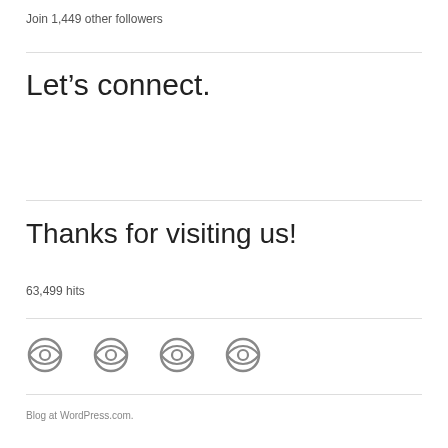Join 1,449 other followers
Let's connect.
Thanks for visiting us!
63,499 hits
[Figure (illustration): Four circular social media / follow icons in a row, grey outlined style with eye-like center detail]
Blog at WordPress.com.